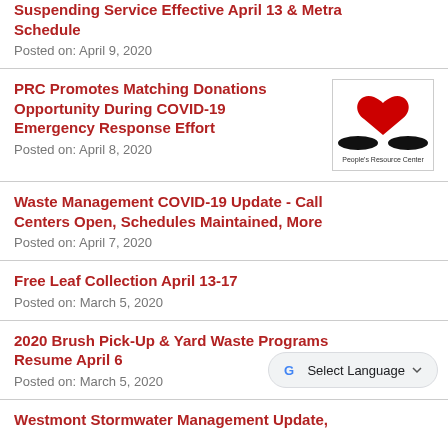Suspending Service Effective April 13 & Metra Schedule
Posted on: April 9, 2020
PRC Promotes Matching Donations Opportunity During COVID-19 Emergency Response Effort
Posted on: April 8, 2020
[Figure (logo): People's Resource Center logo with hands and heart]
Waste Management COVID-19 Update - Call Centers Open, Schedules Maintained, More
Posted on: April 7, 2020
Free Leaf Collection April 13-17
Posted on: March 5, 2020
2020 Brush Pick-Up & Yard Waste Programs Resume April 6
Posted on: March 5, 2020
Westmont Stormwater Management Update,